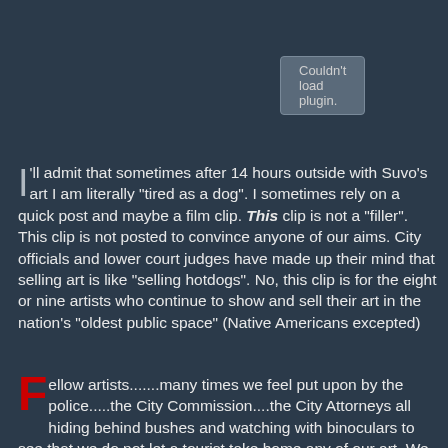[Figure (screenshot): Browser plugin error placeholder box reading 'Couldn't load plugin.']
I'll admit that sometimes after 14 hours outside with Suvo's art I am literally "tired as a dog". I sometimes rely on a quick post and maybe a film clip. This clip is not a "filler". This clip is not posted to convince anyone of our aims. City officials and lower court judges have made up their mind that selling art is like "selling hotdogs". No, this clip is for the eight or nine artists who continue to show and sell their art in the nation's "oldest public space" (Native Americans excepted)
Fellow artists.......many times we feel put upon by the police.....the City Commission....the City Attorneys all hiding behind bushes and watching with binoculars to see that we do not let a tourist take home any of our art. We are not